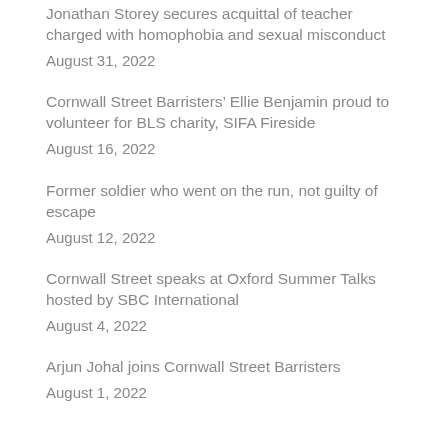Jonathan Storey secures acquittal of teacher charged with homophobia and sexual misconduct
August 31, 2022
Cornwall Street Barristers’ Ellie Benjamin proud to volunteer for BLS charity, SIFA Fireside
August 16, 2022
Former soldier who went on the run, not guilty of escape
August 12, 2022
Cornwall Street speaks at Oxford Summer Talks hosted by SBC International
August 4, 2022
Arjun Johal joins Cornwall Street Barristers
August 1, 2022